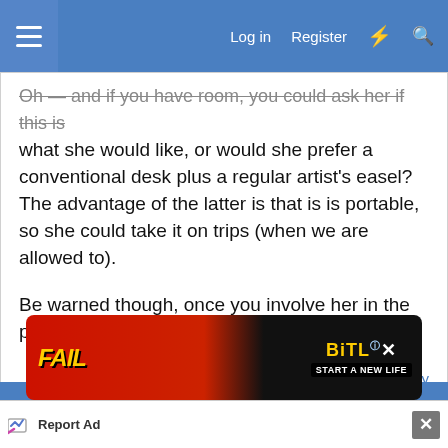Log in  Register
Oh — and if you have room, you could ask her if this is what she would like, or would she prefer a conventional desk plus a regular artist's easel? The advantage of the latter is that is is portable, so she could take it on trips (when we are allowed to).

Be warned though, once you involve her in the planning she will expect it quickly!
Reply
Advertisement
[Figure (screenshot): BitLife game advertisement banner: 'FAIL' text, cartoon character, flames, BitLife logo, 'START A NEW LIFE' tagline]
Report Ad